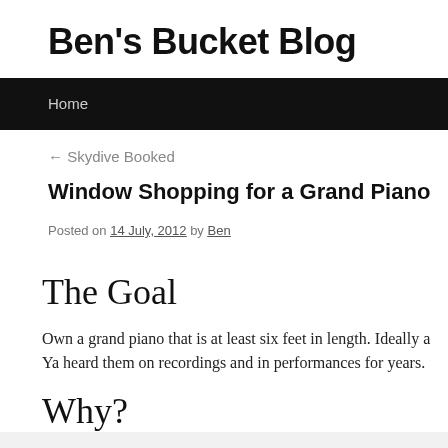Ben's Bucket Blog
Home
← Skydive Booked
Window Shopping for a Grand Piano
Posted on 14 July, 2012 by Ben
The Goal
Own a grand piano that is at least six feet in length. Ideally a Ya heard them on recordings and in performances for years.
Why?